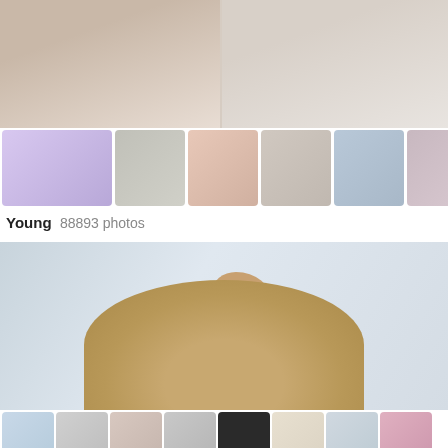[Figure (photo): Top banner showing two photos of people, partial body views on light background]
[Figure (photo): Row of 7 thumbnail photos of people (Young category)]
Young  88893 photos
[Figure (photo): Large featured photo showing close-up of blonde hair being touched by hand with dark nails, geometric blue/grey background]
[Figure (photo): Row of 8 thumbnail photos of people (Caucasian category)]
Caucasian  70194 photos
We use cookies. What for? OK
[Figure (photo): Partial photo of person on pink background, head visible at bottom]